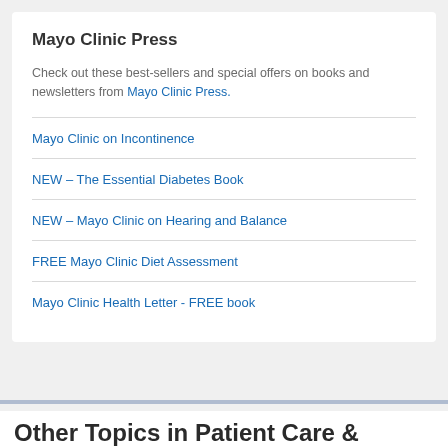Mayo Clinic Press
Check out these best-sellers and special offers on books and newsletters from Mayo Clinic Press.
Mayo Clinic on Incontinence
NEW – The Essential Diabetes Book
NEW – Mayo Clinic on Hearing and Balance
FREE Mayo Clinic Diet Assessment
Mayo Clinic Health Letter - FREE book
Other Topics in Patient Care &